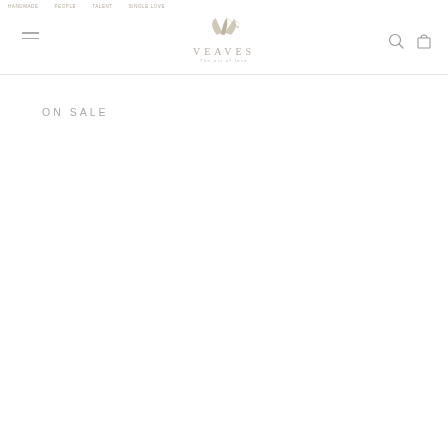VEAVES — The art of love
ON SALE